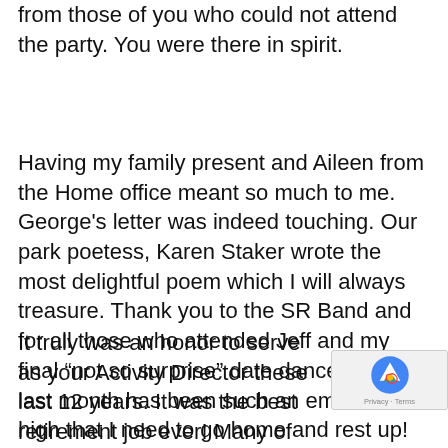from those of you who could not attend the party. You were there in spirit.
Having my family present and Aileen from the Home office meant so much to me. George's letter was indeed touching. Our park poetess, Karen Staker wrote the most delightful poem which I will always treasure. Thank you to the SR Band and for all those who attended Jeff and my final “not so surprise” date dance. This last month has been such an emotional high that I need to go home and rest up!
It truly was an honor to serve as your Activity Director these last 12 years. It was the best retirement job ever! Many of you said that you appreciated m prayers before the meals. God has a plan for al to use our abilities to help each other. We are blessed